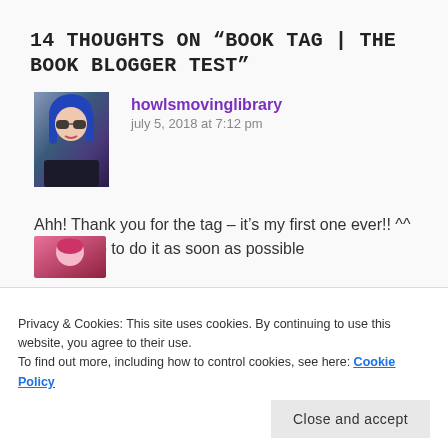14 THOUGHTS ON “BOOK TAG | THE BOOK BLOGGER TEST”
[Figure (photo): Profile photo of howlsmovinglibrary: person with blue hair and sunglasses]
howlsmovinglibrary
july 5, 2018 at 7:12 pm
Ahh! Thank you for the tag – it’s my first one ever!! ^^ I’ll be sure to do it as soon as possible
Privacy & Cookies: This site uses cookies. By continuing to use this website, you agree to their use.
To find out more, including how to control cookies, see here: Cookie Policy
Close and accept